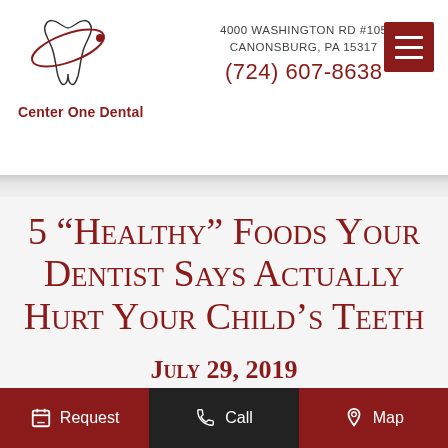[Figure (logo): Center One Dental logo: tooth with orbital ring graphic]
Center One Dental
4000 WASHINGTON RD #105
CANONSBURG, PA 15317
(724) 607-8638
5 “Healthy” Foods Your Dentist Says Actually Hurt Your Child’s Teeth
July 29, 2019
Request  Call  Map